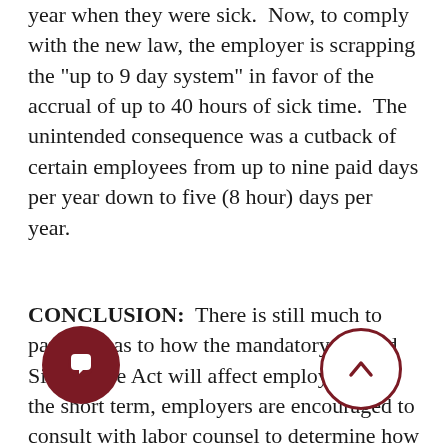year when they were sick.  Now, to comply with the new law, the employer is scrapping the "up to 9 day system" in favor of the accrual of up to 40 hours of sick time.  The unintended consequence was a cutback of certain employees from up to nine paid days per year down to five (8 hour) days per year.
CONCLUSION:  There is still much to parse out as to how the mandatory Earned Sick Leave Act will affect employers.  In the short term, employers are encouraged to consult with labor counsel to determine how best to revise their practices and procedures to comply with the new law, and its unintended consequences.